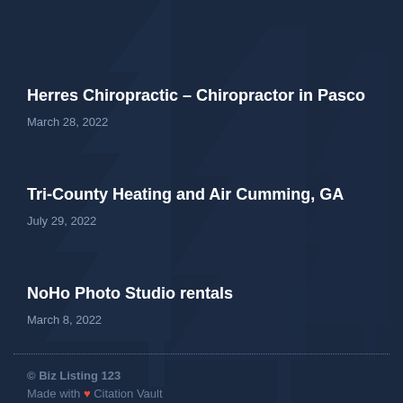Herres Chiropractic – Chiropractor in Pasco
March 28, 2022
Tri-County Heating and Air Cumming, GA
July 29, 2022
NoHo Photo Studio rentals
March 8, 2022
© Biz Listing 123
Made with ❤ Citation Vault